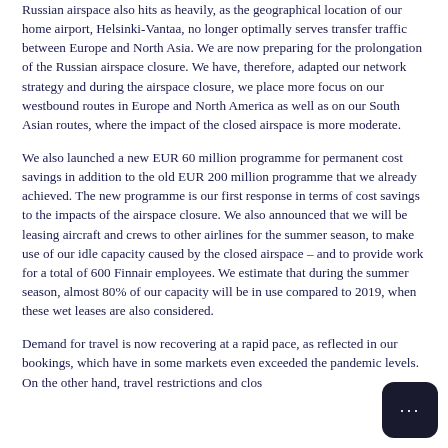Russian airspace also hits as heavily, as the geographical location of our home airport, Helsinki-Vantaa, no longer optimally serves transfer traffic between Europe and North Asia. We are now preparing for the prolongation of the Russian airspace closure. We have, therefore, adapted our network strategy and during the airspace closure, we place more focus on our westbound routes in Europe and North America as well as on our South Asian routes, where the impact of the closed airspace is more moderate.
We also launched a new EUR 60 million programme for permanent cost savings in addition to the old EUR 200 million programme that we already achieved. The new programme is our first response in terms of cost savings to the impacts of the airspace closure. We also announced that we will be leasing aircraft and crews to other airlines for the summer season, to make use of our idle capacity caused by the closed airspace – and to provide work for a total of 600 Finnair employees. We estimate that during the summer season, almost 80% of our capacity will be in use compared to 2019, when these wet leases are also considered.
Demand for travel is now recovering at a rapid pace, as reflected in our bookings, which have in some markets even exceeded the pandemic levels. On the other hand, travel restrictions and clos... Russian airspace are the challenges faced from North Asian traffic. We...